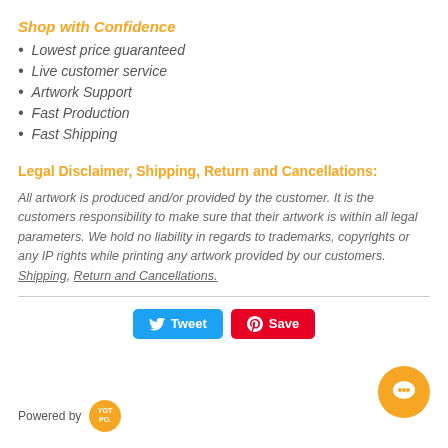Shop with Confidence
Lowest price guaranteed
Live customer service
Artwork Support
Fast Production
Fast Shipping
Legal Disclaimer, Shipping, Return and Cancellations:
All artwork is produced and/or provided by the customer. It is the customers responsibility to make sure that their artwork is within all legal parameters. We hold no liability in regards to trademarks, copyrights or any IP rights while printing any artwork provided by our customers. Shipping, Return and Cancellations.
[Figure (other): Tweet and Save (Pinterest) social sharing buttons]
[Figure (other): Chat bubble icon button, bottom right]
Powered by [Yotpo logo]